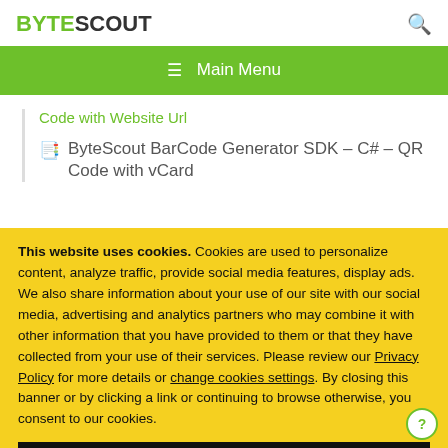BYTESCOUT
≡ Main Menu
Code with Website Url
ByteScout BarCode Generator SDK – C# – QR Code with vCard
This website uses cookies. Cookies are used to personalize content, analyze traffic, provide social media features, display ads. We also share information about your use of our site with our social media, advertising and analytics partners who may combine it with other information that you have provided to them or that they have collected from your use of their services. Please review our Privacy Policy for more details or change cookies settings. By closing this banner or by clicking a link or continuing to browse otherwise, you consent to our cookies.
OK